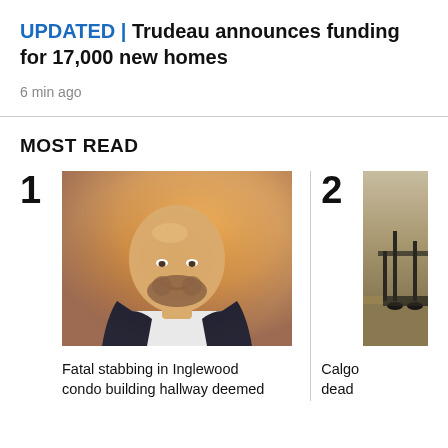UPDATED | Trudeau announces funding for 17,000 new homes
6 min ago
MOST READ
[Figure (photo): Headshot of a smiling bald man with a beard wearing a dark suit jacket and white shirt, with blurred orange background]
Fatal stabbing in Inglewood condo building hallway deemed
[Figure (photo): Partial outdoor scene photo, appears to show equipment or machinery on dry grass]
Calgo dead